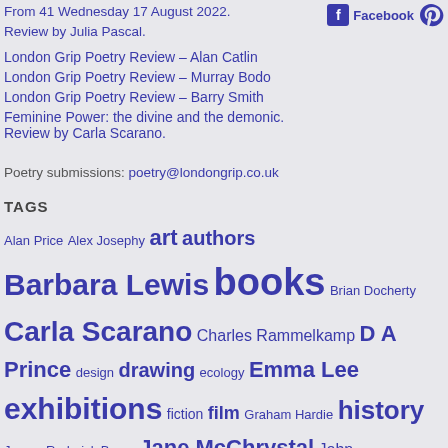From 41 Wednesday 17 August 2022. Review by Julia Pascal.
London Grip Poetry Review – Alan Catlin
London Grip Poetry Review – Murray Bodo
London Grip Poetry Review – Barry Smith
Feminine Power: the divine and the demonic. Review by Carla Scarano.
Poetry submissions: poetry@londongrip.co.uk
TAGS
Alan Price Alex Josephy art authors Barbara Lewis books Brian Docherty Carla Scarano Charles Rammelkamp D A Prince design drawing ecology Emma Lee exhibitions fiction film Graham Hardie history James Roderick Burns Jane McChrystal John Forth Julia Pascal literature Mat Riches Merryn